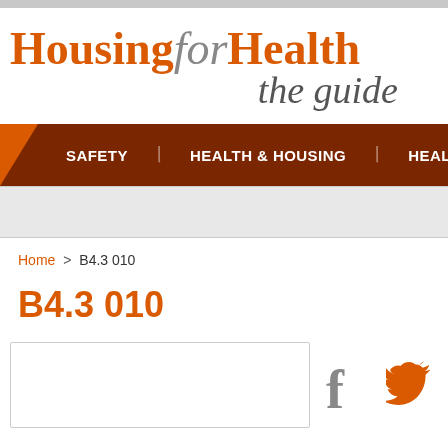HousingforHealth the guide
SAFETY | HEALTH & HOUSING | HEALTHY
Home > B4.3 010
B4.3 010
[Figure (other): Social sharing icons: Facebook (f) and Twitter bird icons in orange/grey]